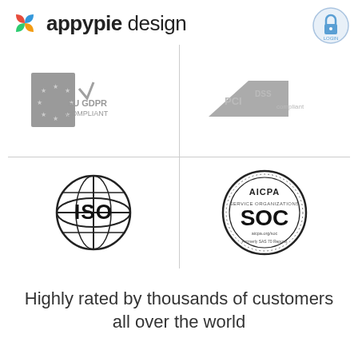[Figure (logo): Appypie Design logo with colorful icon and text]
[Figure (logo): Login button icon top right]
[Figure (logo): EU GDPR Compliant badge (top-left quadrant)]
[Figure (logo): PCI DSS Compliant badge (top-right quadrant)]
[Figure (logo): ISO certification logo (bottom-left quadrant)]
[Figure (logo): AICPA SOC certification badge (bottom-right quadrant)]
Highly rated by thousands of customers all over the world